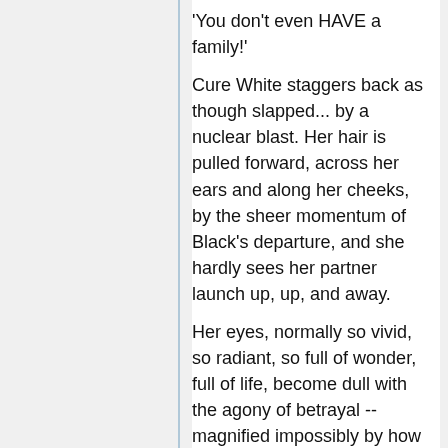'You don't even HAVE a family!'
Cure White staggers back as though slapped... by a nuclear blast. Her hair is pulled forward, across her ears and along her cheeks, by the sheer momentum of Black's departure, and she hardly sees her partner launch up, up, and away.
Her eyes, normally so vivid, so radiant, so full of wonder, full of life, become dull with the agony of betrayal -- magnified impossibly by how her very faith in this relationship gave her strength, but moments before. Black gets her wish: in this moment, White understands her pain.
...and, perhaps, she understands someone else's.
Perhaps it's coincidence, or providence.